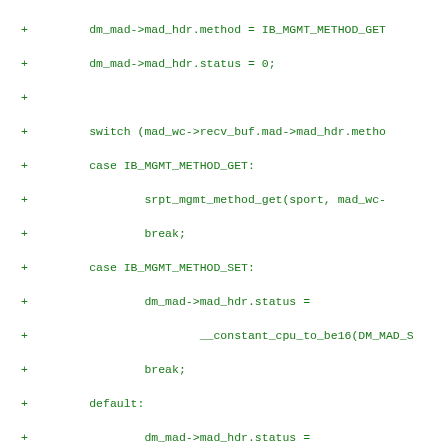[Figure (other): Source code diff fragment showing C code additions with '+' markers on each line, including switch statement handling IB_MGMT_METHOD_GET and IB_MGMT_METHOD_SET cases, error handling with ib_post_send_mad, ib_free_recv_mad, and ib_free_send_mad calls, and an err_rsp label.]